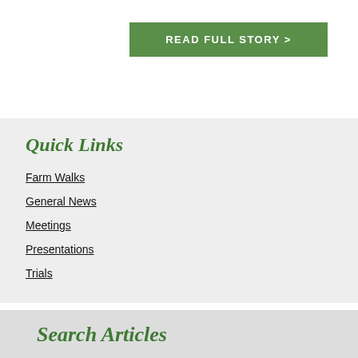READ FULL STORY >
Quick Links
Farm Walks
General News
Meetings
Presentations
Trials
Search Articles